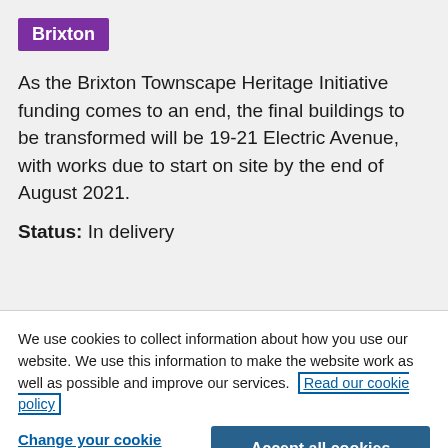Brixton
As the Brixton Townscape Heritage Initiative funding comes to an end, the final buildings to be transformed will be 19-21 Electric Avenue, with works due to start on site by the end of August 2021.
Status: In delivery
We use cookies to collect information about how you use our website. We use this information to make the website work as well as possible and improve our services. Read our cookie policy
Change your cookie settings
Accept all cookies